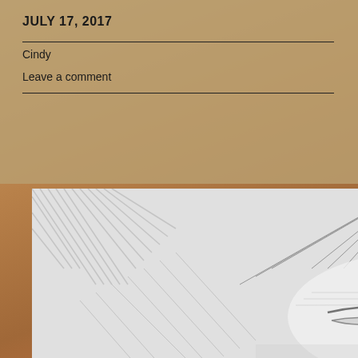JULY 17, 2017
Cindy
Leave a comment
TEGAN Cindy Lap...
[Figure (illustration): Pencil sketch portrait of a person, showing the top half of the face with detailed hair rendering in graphite. The drawing shows careful shading and line work depicting flowing hair and partial facial features including eyebrows and eyes.]